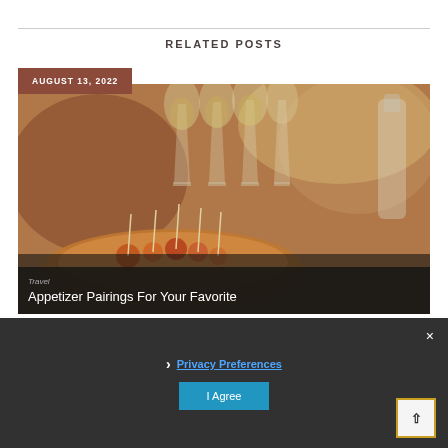RELATED POSTS
[Figure (photo): Photo of champagne glasses and appetizer platter with toothpicks on a table, used as a blog post thumbnail]
AUGUST 13, 2022
Travel
Appetizer Pairings For Your Favorite
› Privacy Preferences
I Agree
×